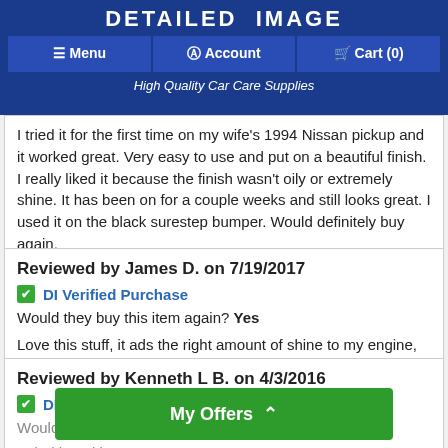[Figure (screenshot): Detailed Image website navigation bar with logo, Menu/Account/Cart buttons, and tagline 'High Quality Car Care Supplies']
I tried it for the first time on my wife's 1994 Nissan pickup and it worked great. Very easy to use and put on a beautiful finish. I really liked it because the finish wasn't oily or extremely shine. It has been on for a couple weeks and still looks great. I used it on the black surestep bumper. Would definitely buy again.
Reviewed by James D. on 7/19/2017
✅ DI Verified Purchase
Would they buy this item again? Yes
Love this stuff, it ads the right amount of shine to my engine, without looking over shined and greasy.
Reviewed by Kenneth L B. on 4/3/2016
✅ DI Verified Purchase
Would they buy...
I tried it and it u...